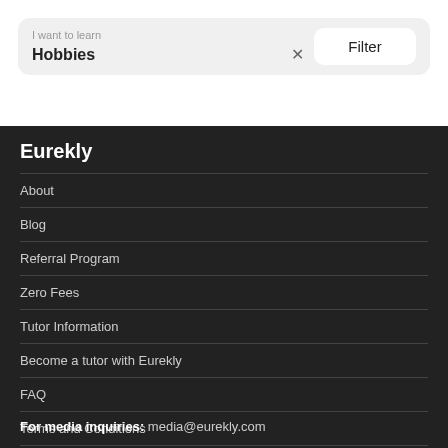I want to learn
Hobbies ×
Filter
Eurekly
About
Blog
Referral Program
Zero Fees
Tutor Information
Become a tutor with Eurekly
FAQ
Terms and Conditions
Contact Us
For media inquiries: media@eurekly.com